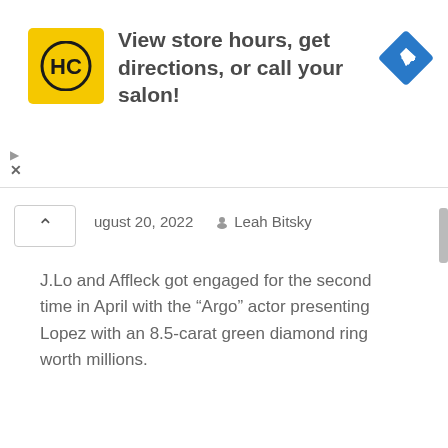[Figure (advertisement): Advertisement banner with HC logo (yellow background, black H and C letters), text 'View store hours, get directions, or call your salon!', and a blue diamond-shaped navigation icon on the right.]
August 20, 2022   Leah Bitsky
J.Lo and Affleck got engaged for the second time in April with the “Argo” actor presenting Lopez with an 8.5-carat green diamond ring worth millions.
READ MORE